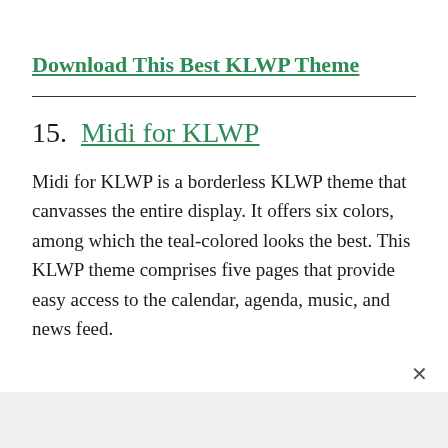Download This Best KLWP Theme
15.  Midi for KLWP
Midi for KLWP is a borderless KLWP theme that canvasses the entire display. It offers six colors, among which the teal-colored looks the best. This KLWP theme comprises five pages that provide easy access to the calendar, agenda, music, and news feed.